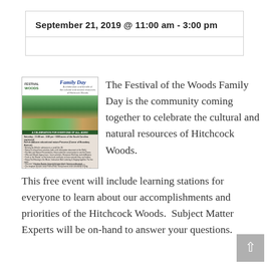September 21, 2019 @ 11:00 am - 3:00 pm
[Figure (illustration): Festival of the Woods Family Day flyer showing a forest path image and event details]
The Festival of the Woods Family Day is the community coming together to celebrate the cultural and natural resources of Hitchcock Woods.  This free event will include learning stations for everyone to learn about our accomplishments and priorities of the Hitchcock Woods.  Subject Matter Experts will be on-hand to answer your questions.